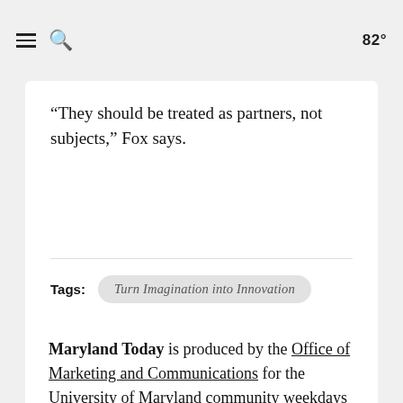☰ 🔍  82°
“They should be treated as partners, not subjects,” Fox says.
Tags: Turn Imagination into Innovation
Maryland Today is produced by the Office of Marketing and Communications for the University of Maryland community weekdays during the academic